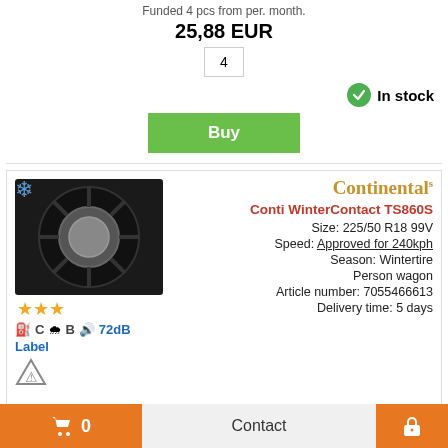Funded 4 pcs from per. month.
25,88 EUR
4
In stock
Buy
Continental
Conti WinterContact TS860S
Size: 225/50 R18 99V
Speed: Approved for 240kph
Season: Wintertire
Person wagon
Article number: 7055466613
Delivery time: 5 days
241,32 EUR
each.
C  B  72dB
Label
Funded 4 pcs from per. month.
26,06 EUR
Contact